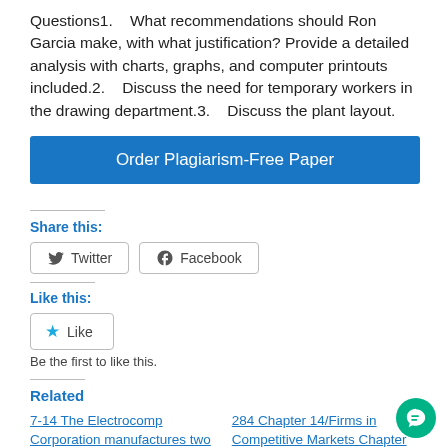Questions1.    What recommendations should Ron Garcia make, with what justification? Provide a detailed analysis with charts, graphs, and computer printouts included.2.    Discuss the need for temporary workers in the drawing department.3.    Discuss the plant layout.
Order Plagiarism-Free Paper
Share this:
Twitter
Facebook
Like this:
Like
Be the first to like this.
Related
7-14 The Electrocomp Corporation manufactures two
284 Chapter 14/Firms in Competitive Markets Chapter